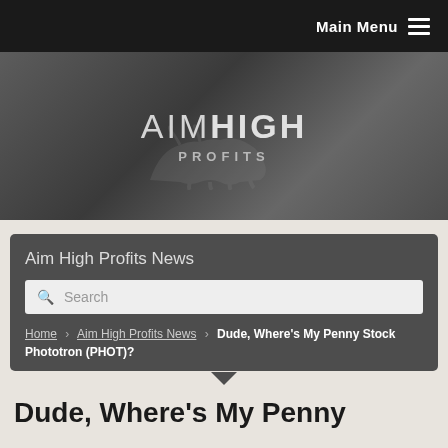Main Menu
[Figure (logo): AimHigh Profits logo with bull silhouette on dark grey gradient background]
Aim High Profits News
Search
Home › Aim High Profits News › Dude, Where's My Penny Stock Phototron (PHOT)?
Dude, Where's My Penny